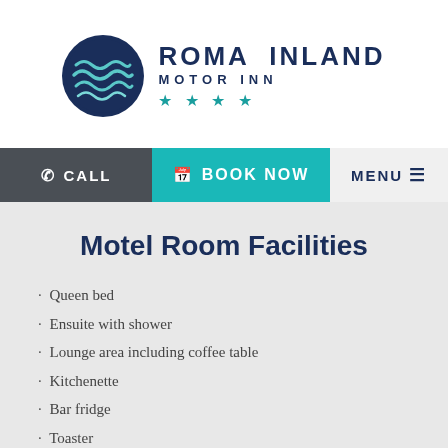[Figure (logo): Roma Inland Motor Inn logo — circular wave emblem in dark blue and teal, with text ROMA INLAND MOTOR INN and four teal stars]
CALL  BOOK NOW  MENU
Motel Room Facilities
Queen bed
Ensuite with shower
Lounge area including coffee table
Kitchenette
Bar fridge
Toaster
Tea/coffee